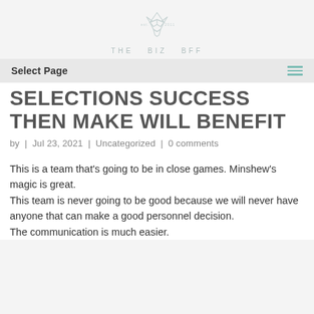[Figure (logo): The Biz BFF logo — geometric fox outline above text 'THE BIZ BFF']
Select Page
SELECTIONS SUCCESS THEN MAKE WILL BENEFIT
by | Jul 23, 2021 | Uncategorized | 0 comments
This is a team that's going to be in close games. Minshew's magic is great.
This team is never going to be good because we will never have anyone that can make a good personnel decision.
The communication is much easier.